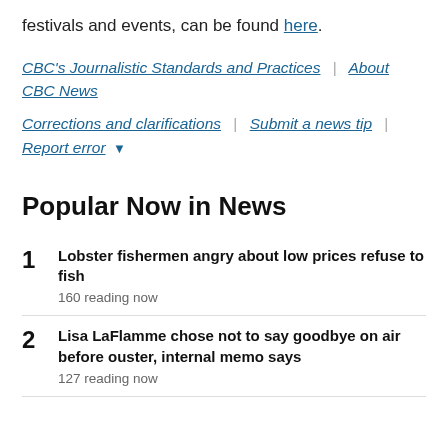festivals and events, can be found here.
CBC's Journalistic Standards and Practices | About CBC News
Corrections and clarifications | Submit a news tip | Report error ▾
Popular Now in News
1 Lobster fishermen angry about low prices refuse to fish — 160 reading now
2 Lisa LaFlamme chose not to say goodbye on air before ouster, internal memo says — 127 reading now